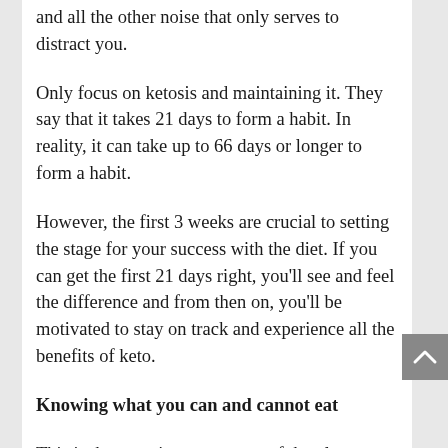and all the other noise that only serves to distract you.
Only focus on ketosis and maintaining it. They say that it takes 21 days to form a habit. In reality, it can take up to 66 days or longer to form a habit.
However, the first 3 weeks are crucial to setting the stage for your success with the diet. If you can get the first 21 days right, you’ll see and feel the difference and from then on, you’ll be motivated to stay on track and experience all the benefits of keto.
Knowing what you can and cannot eat
This is the most important part of the plan.